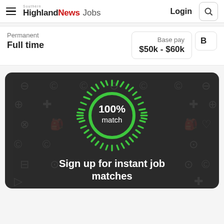Southern Highland News Jobs — Login
Permanent
Full time
Base pay
$50k - $60k
[Figure (infographic): Dark promotional card with a glowing green '100% match' circle with radiating lines, surrounded by faint icon grid background. Text below reads: Sign up for instant job matches]
Sign up for instant job matches